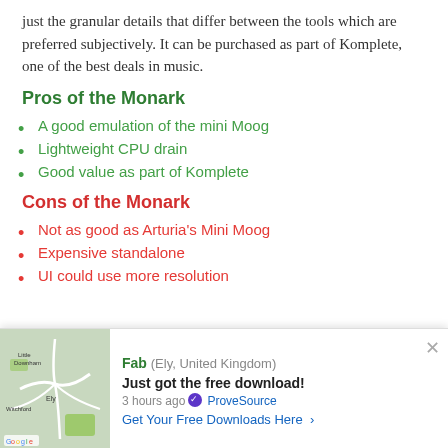just the granular details that differ between the tools which are preferred subjectively. It can be purchased as part of Komplete, one of the best deals in music.
Pros of the Monark
A good emulation of the mini Moog
Lightweight CPU drain
Good value as part of Komplete
Cons of the Monark
Not as good as Arturia's Mini Moog
Expensive standalone
UI could use more resolution
[Figure (other): Notification popup from ProveSource showing a map of Ely, United Kingdom, with user Fab saying 'Just got the free download!' 3 hours ago, with a 'Get Your Free Downloads Here' link.]